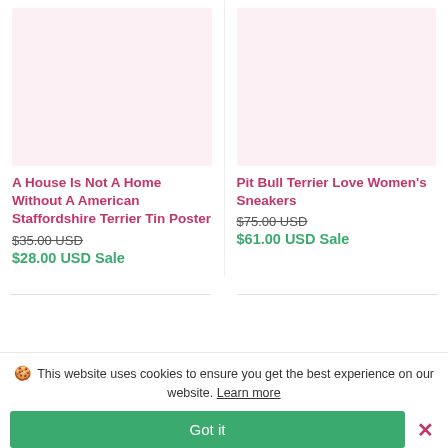[Figure (photo): Product image placeholder with light pink background for A House Is Not A Home Without A American Staffordshire Terrier Tin Poster]
[Figure (photo): Product image placeholder with light pink background for Pit Bull Terrier Love Women's Sneakers]
A House Is Not A Home Without A American Staffordshire Terrier Tin Poster
$35.00 USD (strikethrough) $28.00 USD Sale
Pit Bull Terrier Love Women's Sneakers
$75.00 USD (strikethrough) $61.00 USD Sale
🍪 This website uses cookies to ensure you get the best experience on our website. Learn more
Got it